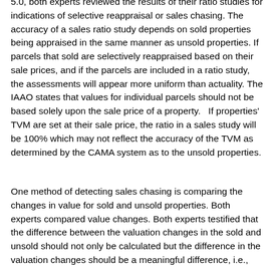5.0, both experts reviewed the results of their ratio studies for indications of selective reappraisal or sales chasing. The accuracy of a sales ratio study depends on sold properties being appraised in the same manner as unsold properties. If parcels that sold are selectively reappraised based on their sale prices, and if the parcels are included in a ratio study, the assessments will appear more uniform than actuality. The IAAO states that values for individual parcels should not be based solely upon the sale price of a property.   If properties' TVM are set at their sale price, the ratio in a sales study will be 100% which may not reflect the accuracy of the TVM as determined by the CAMA system as to the unsold properties.
One method of detecting sales chasing is comparing the changes in value for sold and unsold properties. Both experts compared value changes. Both experts testified that the difference between the valuation changes in the sold and unsold should not only be calculated but the difference in the valuation changes should be a meaningful difference, i.e., large enough to give concern